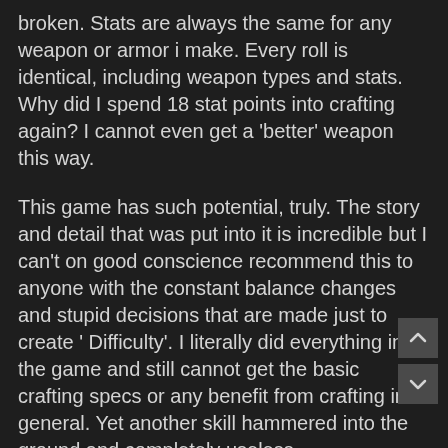broken. Stats are always the same for any weapon or armor i make. Every roll is identical, including weapon types and stats. Why did I spend 18 stat points into crafting again? I cannot even get a 'better' weapon this way.
This game has such potential, truly. The story and detail that was put into it is incredible but I can't on good conscience recommend this to anyone with the constant balance changes and stupid decisions that are made just to create ' Difficulty'. I literally did everything in the game and still cannot get the basic crafting specs or any benefit from crafting in general. Yet another skill hammered into the ground and completely useless.
Thanks CD, great job. I'm out.